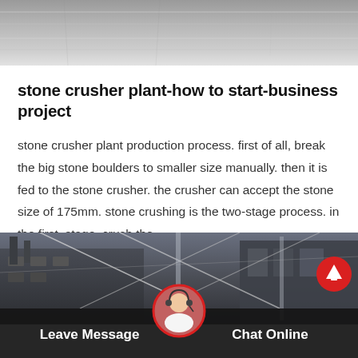[Figure (photo): Top portion of an industrial stone crusher or concrete surface image, grayish texture, partial view]
stone crusher plant-how to start-business project
stone crusher plant production process. first of all, break the big stone boulders to smaller size manually. then it is fed to the stone crusher. the crusher can accept the stone size of 175mm. stone crushing is the two-stage process. in the first. stage, crush the…
[Figure (photo): Industrial building/factory with structural steel cables and supports, dark moody photograph. Bottom bar with Leave Message and Chat Online buttons, a customer service avatar in the center, and a red scroll-to-top button.]